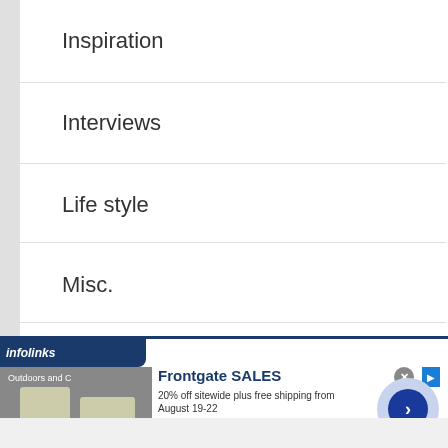Inspiration
Interviews
Life style
Misc.
Movies
Music
Mysteries
Mysteries and Crime
[Figure (screenshot): Advertisement banner from Frontgate showing outdoor furniture with fire pit. Title: Frontgate SALES. Description: 20% off sitewide plus free shipping from August 19-22. URL: frontgate.com. Infolinks ad network label visible.]